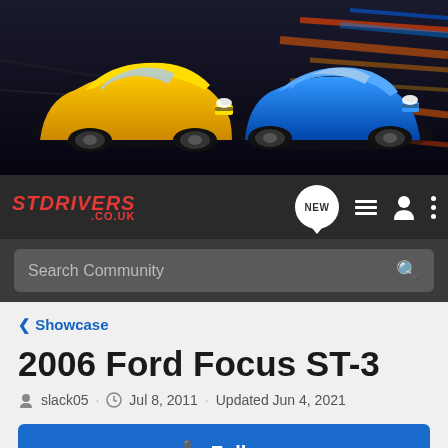[Figure (photo): Banner image showing a yellow Ford Focus ST and a blue Ford Focus RS on a dark dramatic background with motion blur effect]
[Figure (logo): STDrivers.co.uk logo in red italic text on dark navigation bar, with NEW chat bubble icon, list icon, person icon, and vertical dots icon]
Search Community
< Showcase
2006 Ford Focus ST-3
slack05 · Jul 8, 2011 · Updated Jun 4, 2021
+ Follow